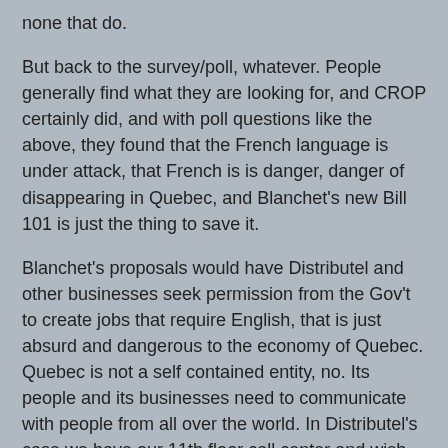none that do.
But back to the survey/poll, whatever.  People generally find what they are looking for, and CROP certainly did, and with poll questions like the above, they found that the French language is under attack, that French is is danger, danger of disappearing in Quebec, and Blanchet's new Bill 101 is just the thing to save it.
Blanchet's proposals would have Distributel and other businesses seek permission from the Gov't to create jobs that require English, that is just absurd and dangerous to the economy of Quebec.  Quebec is not a self contained entity, no.  Its people and its businesses need to communicate with people from all over the world.  In Distributel's case we have our 11th floor call center and wish to be able to receive calls from customers anywhere in Canada.  Some of those customer speak English, some speak French.
We have our marketing team in Montréal, we need JP and Kate and their team to be able to order up an English flyer drop in Calgary's South West.  I certainly would not want the